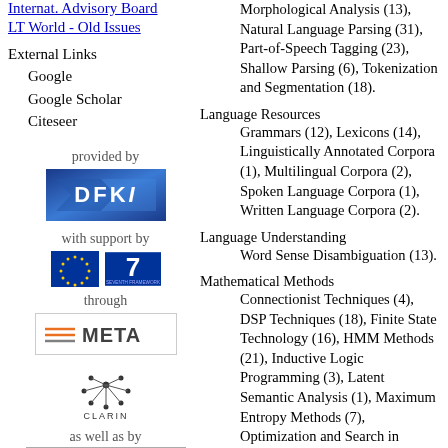Internat. Advisory Board
LT World - Old Issues
External Links
Google
Google Scholar
Citeseer
[Figure (logo): provided by DFKI logo - blue angular logo]
[Figure (logo): with support by EU flag and 7th Framework Programme logo]
[Figure (logo): through META logo with orange and grey lines]
[Figure (logo): CLARIN logo with dots and circles]
as well as by
[Figure (logo): Bundesministerium logo]
Morphological Analysis (13), Natural Language Parsing (31), Part-of-Speech Tagging (23), Shallow Parsing (6), Tokenization and Segmentation (18).
Language Resources
Grammars (12), Lexicons (14), Linguistically Annotated Corpora (1), Multilingual Corpora (2), Spoken Language Corpora (1), Written Language Corpora (2).
Language Understanding
Word Sense Disambiguation (13).
Mathematical Methods
Connectionist Techniques (4), DSP Techniques (18), Finite State Technology (16), HMM Methods (21), Inductive Logic Programming (3), Latent Semantic Analysis (1), Maximum Entropy Methods (7), Optimization and Search in